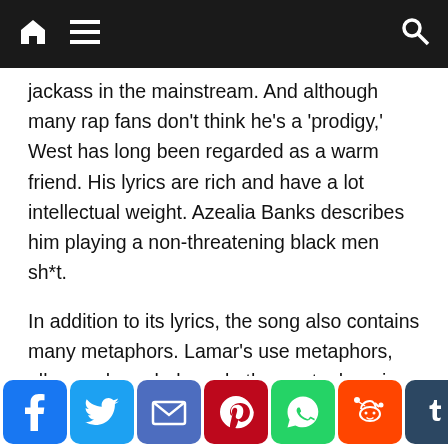Navigation bar with home, menu, and search icons
jackass in the mainstream. And although many rap fans don't think he's a 'prodigy,' West has long been regarded as a warm friend. His lyrics are rich and have a lot intellectual weight. Azealia Banks describes him playing a non-threatening black men sh*t.
In addition to its lyrics, the song also contains many metaphors. Lamar's use metaphors, allegory, hyperbole and other metaphors is remarkable. His use of self is striking. The clever use of self-reference by the rap sensation in this context suggests a deeper level. The lyrics are also reminiscent of Jeremiah, the longest book in the Old Testament. Like Lamar's “Stay Wake,” it also reflects the dichotomy between good and evil.
Social share bar: Facebook, Twitter, Email, Pinterest, WhatsApp, Reddit, Tumblr, Plus